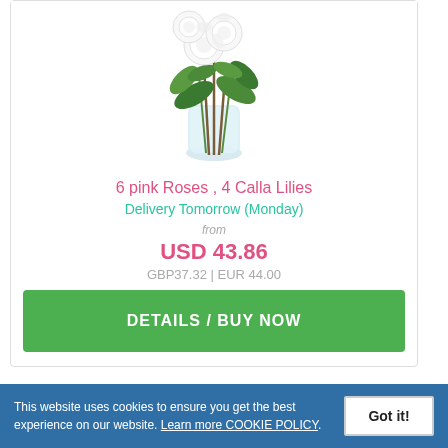[Figure (photo): White roses and calla lilies in a glass vase with green leaves]
6 pink Roses , 4 Calla Lilies
Delivery Tomorrow (Monday)
from
USD 43.86
GBP37.32 | EUR 44.00
DETAILS / BUY NOW
This website uses cookies to ensure you get the best experience on our website. Learn more COOKIE POLICY.
Got it!